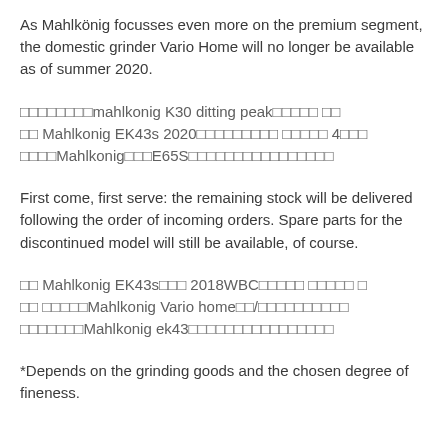As Mahlkönig focusses even more on the premium segment, the domestic grinder Vario Home will no longer be available as of summer 2020.
□□□□□□□□mahlkonig K30 ditting peak□□□□□ □□ □□ Mahlkonig EK43s 2020□□□□□□□□□ □□□□□ 4□□□ □□□□Mahlkonig□□□E65S□□□□□□□□□□□□□□□□
First come, first serve: the remaining stock will be delivered following the order of incoming orders. Spare parts for the discontinued model will still be available, of course.
□□ Mahlkonig EK43s□□□ 2018WBC□□□□□ □□□□□ □ □□ □□□□□Mahlkonig Vario home□□/□□□□□□□□□□ □□□□□□□Mahlkonig ek43□□□□□□□□□□□□□□□□
*Depends on the grinding goods and the chosen degree of fineness.